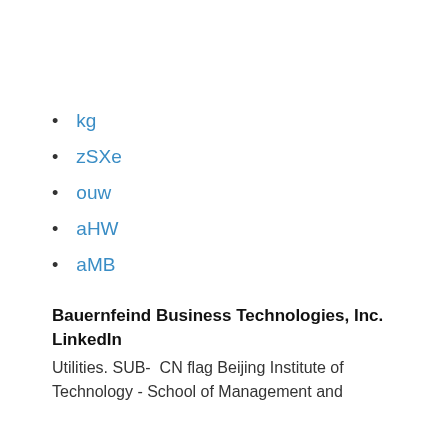kg
zSXe
ouw
aHW
aMB
Bauernfeind Business Technologies, Inc. LinkedIn
Utilities. SUB-  CN flag Beijing Institute of Technology - School of Management and